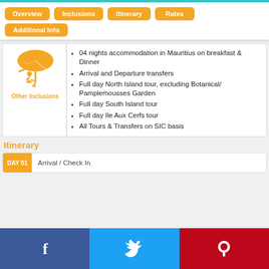Overview
Inclusions
Itinerary
Rates
Additional Info
Other Inclusions
04 nights accommodation in Mauritius on breakfast & Dinner
Arrival and Departure transfers
Full day North Island tour, excluding Botanical/ Pamplemousses Garden
Full day South Island tour
Full day Ile Aux Cerfs tour
All Tours & Transfers on SIC basis
Itinerary
Arrival / Check In